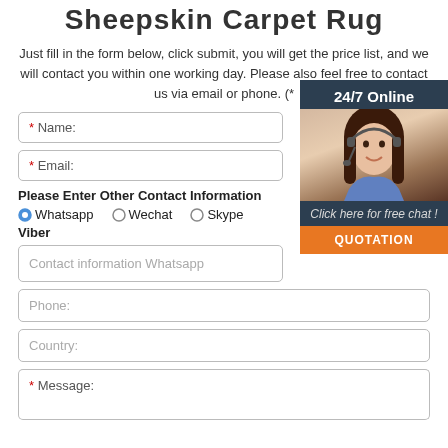Sheepskin Carpet Rug
Just fill in the form below, click submit, you will get the price list, and we will contact you within one working day. Please also feel free to contact us via email or phone. (*
[Figure (infographic): Customer support widget showing '24/7 Online', a woman with headset, 'Click here for free chat!', and a QUOTATION button]
* Name:
* Email:
Please Enter Other Contact Information
● Whatsapp  ○ Wechat  ○ Skype
Viber
Contact information Whatsapp
Phone:
Country:
* Message: